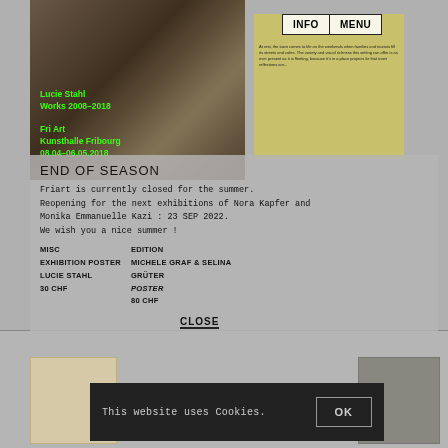[Figure (photo): Exhibition photo: nature/botanical close-up with mushrooms and plants, greenish-brown tones. Overlaid text in green: 'Lucie Stahl Works 2008–2018 / Fri Art Kunsthalle Fribourg / 08.04–06.05.2018']
[Figure (photo): Olive/yellow-green publication or catalog card with small text]
INFO   MENU
END OF SEASON
Friart is currently closed for the summer. Reopening for the next exhibitions of Nora Kapfer and Monika Emmanuelle Kazi : 23 SEP 2022. We wish you a nice summer !
MISC
EXHIBITION POSTER
LUCIE STAHL
30 CHF
EDITION
MICHELE GRAF & SELINA GRÜTER
POSTER
80 CHF
CLOSE
[Figure (photo): Bottom section with two partial images: left shows framed artwork in warm tones, right shows gray/dark artwork]
This website uses Cookies.
OK